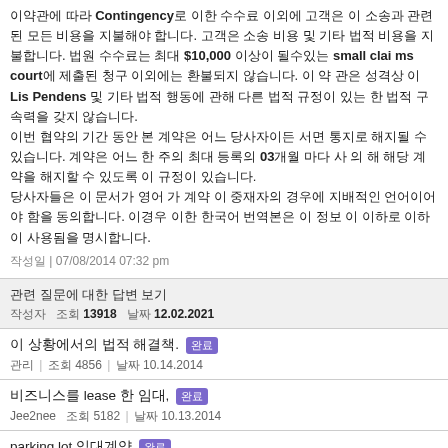이 약관에 따라 Contingency로 이한 수수료 이외에 고객은 이 소송과 관련된 모든 비용을 지불해야 합니다. 고객은 소송 비용 및 기타 법적 비용을 지불합니다. 법원 수수료는 최대 $10,000 이상이 될수있는 small claims court에 제출된 청구 이외에는 환불되지 않습니다. 이 약 관은 성격상 부동 Lis Pendens 및 기타 법적 행동에 관해 다른 법적 규정이 있는 한 법적 구속력을 갖지 않습니다.
이번 협약의 기간 동안 본 계약은 어느 당사자 이든 서면 통지로 해지될 수 있습니다. 계약은 어느 한 주의 최대 등록의 약정된 비원 사 의 해 끊임 없이 갱신될 수 있습니다.
당사자들은 이 문서가 영어 가 계약 이 중재자의 경우에 지배적인 언어이어야 함을 동의합니다. 이경우 이한 한국어 번역본은 아래 이하 정보 이 목적으로만 이 사용됨을 명시합니다.
작성일 | 07/08/2014 07:32 pm
관련 질문에 대한 답변 보기
작성자 | 조회 13918 | 날짜 12.02.2021
이 상황에서의 법적 해결책. 완료 | 조회 4856 | 날짜 10.14.2014
비즈니스를 lease 한 임대, 완료 Jee2nee 조회 5182 | 날짜 10.13.2014
parking lot 임대계약 완료 | 조회 4786 | 날짜 10.08.2014
임대차 계약서. 완료 minhyoung 조회 6574 | 날짜 10.08.2014